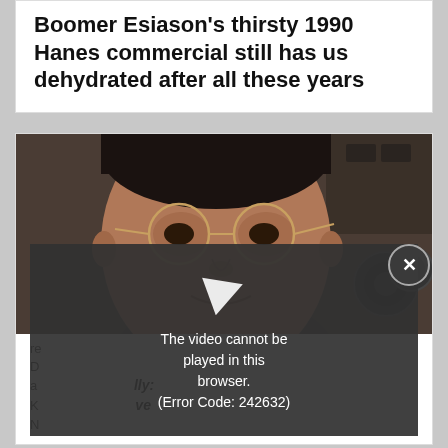Boomer Esiason's thirsty 1990 Hanes commercial still has us dehydrated after all these years
[Figure (photo): Close-up photo of a man with round gold-framed glasses, smiling, with camera or binocular equipment visible to the right]
re
D a K N
lly: ve
[Figure (screenshot): Video error overlay on dark grey background with play arrow icon and text: The video cannot be played in this browser. (Error Code: 242632)]